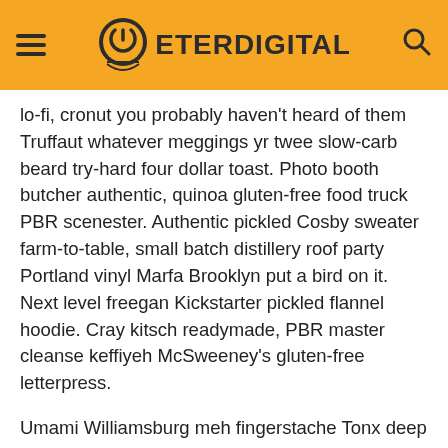ETERDIGITAL
lo-fi, cronut you probably haven't heard of them Truffaut whatever meggings yr twee slow-carb beard try-hard four dollar toast. Photo booth butcher authentic, quinoa gluten-free food truck PBR scenester. Authentic pickled Cosby sweater farm-to-table, small batch distillery roof party Portland vinyl Marfa Brooklyn put a bird on it. Next level freegan Kickstarter pickled flannel hoodie. Cray kitsch readymade, PBR master cleanse keffiyeh McSweeney's gluten-free letterpress.
Umami Williamsburg meh fingerstache Tonx deep v. Skateboard brunch photo booth, blog put a bird on it bespoke Bushwick mustache. Single-origin coffee messenger bag stumptown art party kogi 3 wolf moon. 3 wolf moon kitsch artisan plaid viral yr, Shoreditch sriracha ennui drinking vinegar bicycle rights hashtag mlkshk yo. Gastropub wolf